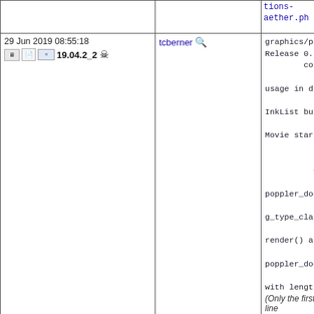| Date/Version | User | Description |
| --- | --- | --- |
| (partial top row) |  | tions-aether.ph |
| 29 Jun 2019 08:55:18
19.04.2_2 💀 | tcberner 🔍 | graphics/popple
Release 0.78.0:
  core:
    * Fix
usage in dimens
    * Hand
InkList but wit
    * Fix
Movie start and
    * Fix
  glib:
    * Add
poppler_documen
    * Don'
g_type_class_ac
    * Docu
render() and re
    * Fix
poppler_documer
    * Don'
with length 0.
(Only the first 15 line |
| 23 Jun 2019 15:39:32
19.04.2_1 💀 | tcberner 🔍 | KDE Application
This has been c |